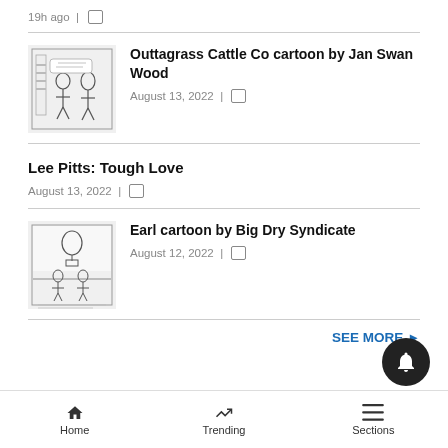19h ago |
[Figure (illustration): Cartoon thumbnail for Outtagrass Cattle Co cartoon by Jan Swan Wood — black and white cartoon with two figures]
Outtagrass Cattle Co cartoon by Jan Swan Wood
August 13, 2022 |
Lee Pitts: Tough Love
August 13, 2022 |
[Figure (illustration): Cartoon thumbnail for Earl cartoon by Big Dry Syndicate — black and white outdoor scene cartoon]
Earl cartoon by Big Dry Syndicate
August 12, 2022 |
SEE MORE >
Home   Trending   Sections